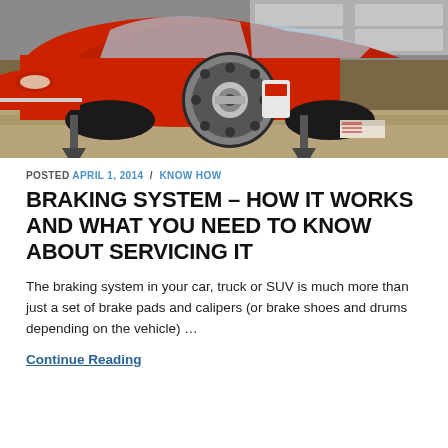[Figure (photo): A classic red car lifted on jack stands in a garage, showing the front wheel area with a large drilled disc brake rotor and caliper visible. The car appears to be undergoing brake service.]
POSTED APRIL 1, 2014 / KNOW HOW
BRAKING SYSTEM – HOW IT WORKS AND WHAT YOU NEED TO KNOW ABOUT SERVICING IT
The braking system in your car, truck or SUV is much more than just a set of brake pads and calipers (or brake shoes and drums depending on the vehicle) …
Continue Reading